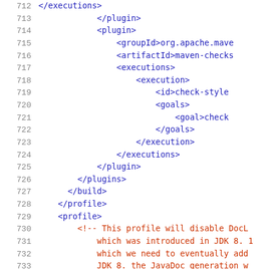[Figure (screenshot): Code listing showing XML configuration lines 712-733, with line numbers on the left in gray, XML tags in dark blue/navy, and XML comments in dark red/orange. The code shows Maven plugin configuration XML including executions, plugin, groupId, artifactId, executions, execution, id, goals, goal, /goals, /execution, /executions, /plugin, /plugins, /build, /profile, profile, and comment text about disabling DocLint introduced in JDK 8.]